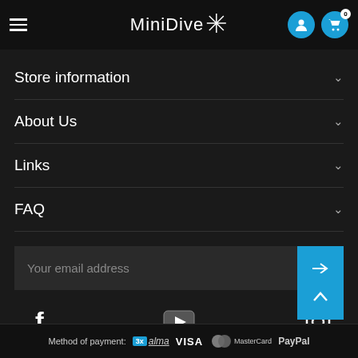MiniDive
Store information
About Us
Links
FAQ
Your email address
[Figure (infographic): Social media icons: Facebook, YouTube, Instagram]
Method of payment: alma VISA MasterCard PayPal